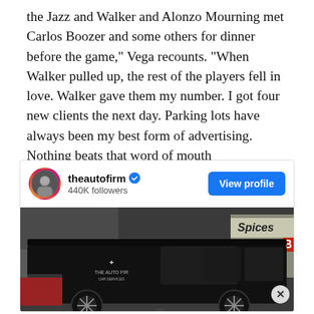the Jazz and Walker and Alonzo Mourning met Carlos Boozer and some others for dinner before the game," Vega recounts. "When Walker pulled up, the rest of the players fell in love. Walker gave them my number. I got four new clients the next day. Parking lots have always been my best form of advertising. Nothing beats that word of mouth recommendation."
[Figure (screenshot): Instagram embed showing theautofirm account with 440K followers and a View profile button, below which is a photo of a black Mercedes G-Wagon SUV with 'THE AUTO FIRM' branding on the side, parked in front of a store with 'Spices' signage visible.]